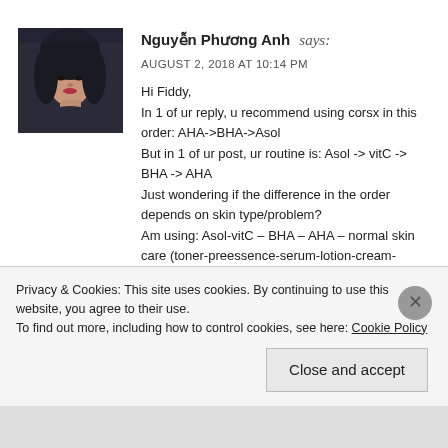[Figure (photo): Profile photo of a young Asian woman with dark hair, wearing a dark top, seated in a car interior.]
Nguyễn Phương Anh says: AUGUST 2, 2018 AT 10:14 PM Hi Fiddy, In 1 of ur reply, u recommend using corsx in this order: AHA->BHA->Asol But in 1 of ur post, ur routine is: Asol -> vitC -> BHA -> AHA Just wondering if the difference in the order depends on skin type/problem? Am using: Asol-vitC – BHA – AHA – normal skin care (toner-preessence-serum-lotion-cream-suncream). Does it sounds alrite? Am so new to all of this, so I was taking advices by bits and pieces from here n there. Dont knw if am using the right
Privacy & Cookies: This site uses cookies. By continuing to use this website, you agree to their use.
To find out more, including how to control cookies, see here: Cookie Policy
Close and accept